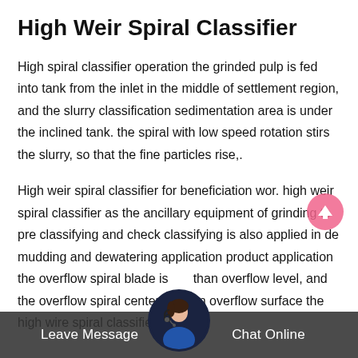High Weir Spiral Classifier
High spiral classifier operation the grinded pulp is fed into tank from the inlet in the middle of settlement region, and the slurry classification sedimentation area is under the inclined tank. the spiral with low speed rotation stirs the slurry, so that the fine particles rise,.
High weir spiral classifier for beneficiation wor. high weir spiral classifier as the ancillary equipment of grinding to pre classifying and check classifying is also applied in de mudding and dewatering application product application the overflow spiral blade is higher than overflow level, and the overflow spiral center is lower than overflow surface the high wire spiral classifier is
Leave Message   Chat Online